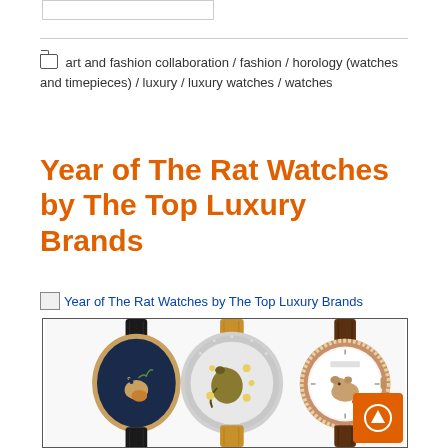art and fashion collaboration / fashion / horology (watches and timepieces) / luxury / luxury watches / watches
Year of The Rat Watches by The Top Luxury Brands
[Figure (other): Broken image placeholder with alt text: Year of The Rat Watches by The Top Luxury Brands]
[Figure (photo): Three luxury watches side by side: left watch has dark blue dial with Year of the Rat mouse illustration and black leather strap; center watch has ornate silver case with decorative rat motif and tan leather strap; right watch has white dial with small rat illustration, diamond-set bezel, and brown leather strap.]